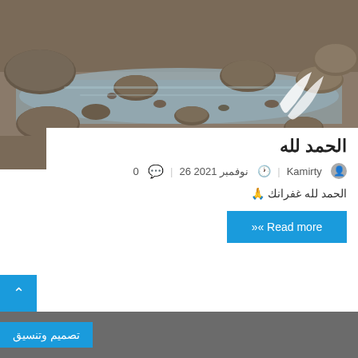[Figure (photo): Rocky riverbed with stones and shallow water, outdoor landscape photo]
الحمد لله
Kamirty  26 نوفمبر 2021  0
الحمد لله غفرانك 🙏
Read more »«
تصميم وتنسيق